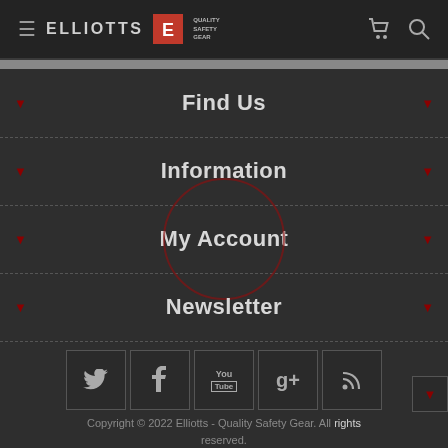Elliotts - Quality Safety Gear navigation header with hamburger menu, logo, cart and search icons
Find Us
Information
My Account
Newsletter
[Figure (screenshot): Social media icons: Twitter, Facebook, YouTube, Google+, RSS feed]
Copyright © 2022 Elliotts - Quality Safety Gear. All rights reserved.